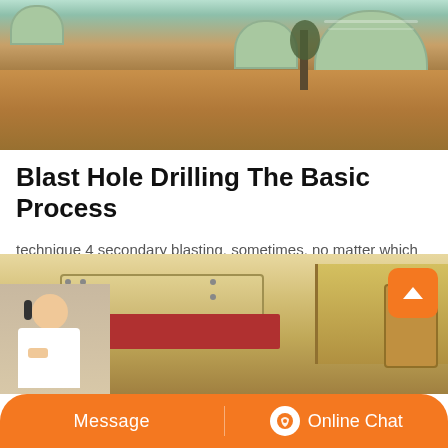[Figure (photo): Aerial/ground-level view of a mining or industrial site with green dome-shaped structures and exposed soil/earth in the foreground]
Blast Hole Drilling The Basic Process
technique 4 secondary blasting. sometimes, no matter which method was initially employed, it may prove necessary to blast same
[Figure (photo): Close-up of heavy industrial mining machinery including yellow and red equipment components]
[Figure (photo): Customer service representative with headset]
Message   Online Chat